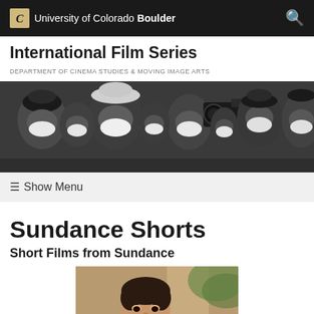University of Colorado Boulder
International Film Series
DEPARTMENT OF CINEMA STUDIES & MOVING IMAGE ARTS
[Figure (photo): Black and white photo of film crew wearing white face masks, with a film camera visible in the background]
☰ Show Menu
Sundance Shorts
Short Films from Sundance
[Figure (photo): Color film still showing a young man with dark hair in close-up, appearing contemplative]